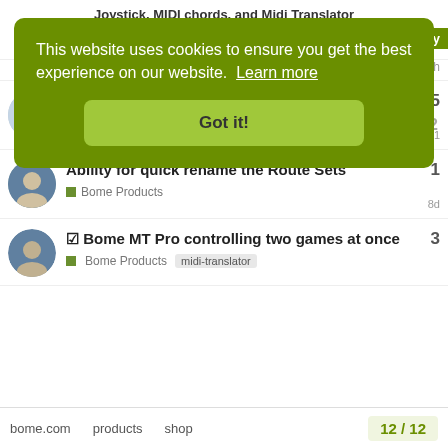Joystick, MIDI chords, and Midi Translator
[Figure (screenshot): Cookie consent banner overlay on a forum page. Green rounded rectangle with text: 'This website uses cookies to ensure you get the best experience on our website. Learn more' and a 'Got it!' button.]
Bome Products · 15h
Multi Client Virtual Ports?
Bome Products · Sep '21 · replies: 5
Ability for quick rename the Route Sets
Bome Products · 8d · replies: 1
☑ Bome MT Pro controlling two games at once
Bome Products   midi-translator
bome.com   products   shop   12 / 12